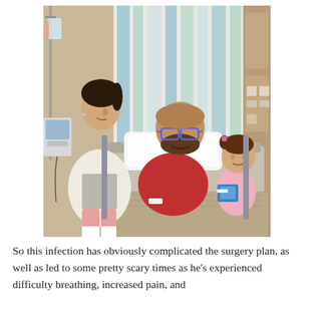[Figure (photo): A hospital room scene showing a man in a red t-shirt and glasses lying in a hospital bed, a woman in a white sweater sitting beside the bed smiling at him, and a toddler girl in a pink outfit sitting next to the man on the bed. Medical equipment including IV poles and monitors are visible in the background along with a colorful curtain.]
So this infection has obviously complicated the surgery plan, as well as led to some pretty scary times as he's experienced difficulty breathing, increased pain, and